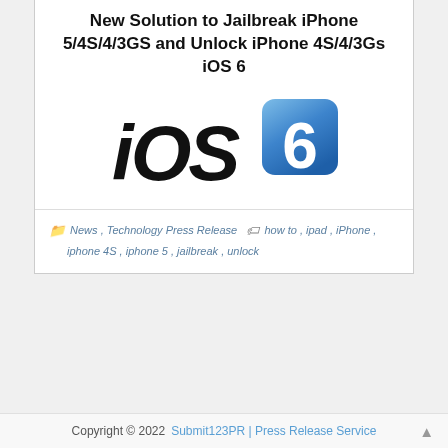New Solution to Jailbreak iPhone 5/4S/4/3GS and Unlock iPhone 4S/4/3Gs iOS 6
[Figure (logo): iOS 6 logo — bold italic 'iOS' text in black followed by a blue rounded-rectangle icon with the number 6 in white]
📁 News , Technology Press Release 🏷 how to , ipad , iPhone , iphone 4S , iphone 5 , jailbreak , unlock
Copyright © 2022 Submit123PR | Press Release Service